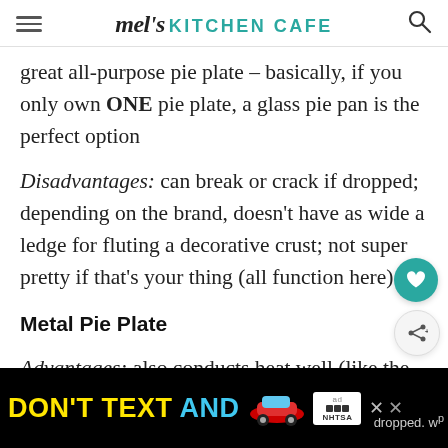mel's KITCHEN CAFE
great all-purpose pie plate – basically, if you only own ONE pie plate, a glass pie pan is the perfect option
Disadvantages: can break or crack if dropped; depending on the brand, doesn't have as wide a ledge for fluting a decorative crust; not super pretty if that's your thing (all function here)
Metal Pie Plate
Advantages: also conducts heat well (like the gl... dropped. w